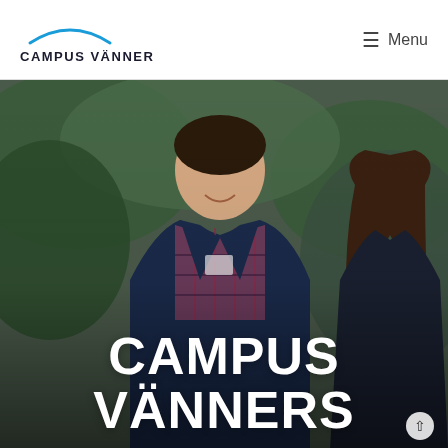Campus Vänner — Menu navigation header
[Figure (photo): Two young people smiling outdoors in front of green bushes, man in a plaid shirt and dark blazer, woman with long hair, overlaid with large white bold text reading CAMPUS VÄNNERS]
CAMPUS VÄNNERS